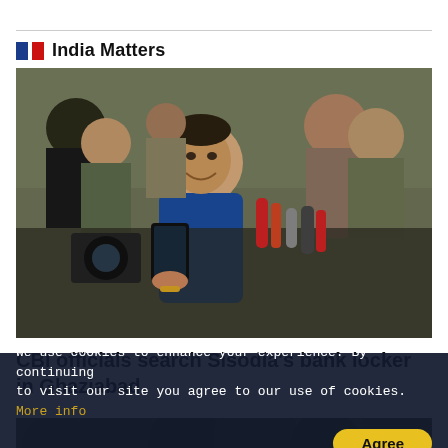India Matters
[Figure (photo): A man in a blue shirt (Manish Sisodia) smiling while surrounded by media reporters holding microphones and cameras, with police/security personnel in the background.]
CBI officials search Sisodia's bank locker in Ghaziabad
[Figure (photo): Partial view of a second photo showing green trees/forest scene.]
We use cookies to enhance your experience. By continuing to visit our site you agree to our use of cookies. More info